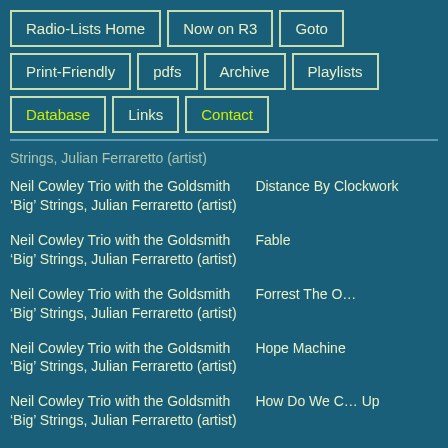Radio-Lists Home
Now on R3
Goto
Print-Friendly
pdfs
Archive
Playlists
Database
Links
Contact
Strings, Julian Ferraretto (artist)
Neil Cowley Trio with the Goldsmith ‘Big’ Strings, Julian Ferraretto (artist)
Distance By Clockwork
Neil Cowley Trio with the Goldsmith ‘Big’ Strings, Julian Ferraretto (artist)
Fable
Neil Cowley Trio with the Goldsmith ‘Big’ Strings, Julian Ferraretto (artist)
Forrest The O…
Neil Cowley Trio with the Goldsmith ‘Big’ Strings, Julian Ferraretto (artist)
Hope Machine
Neil Cowley Trio with the Goldsmith ‘Big’ Strings, Julian Ferraretto (artist)
How Do We C… Up